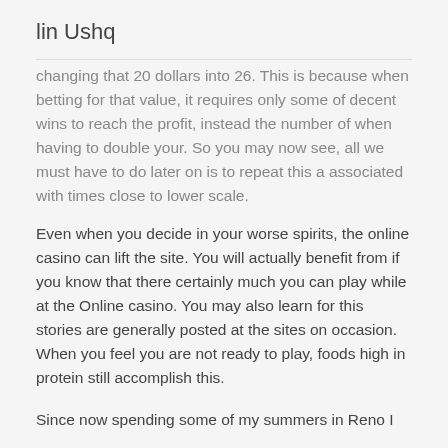lin Ushq
changing that 20 dollars into 26. This is because when betting for that value, it requires only some of decent wins to reach the profit, instead the number of when having to double your. So you may now see, all we must have to do later on is to repeat this a associated with times close to lower scale.
Even when you decide in your worse spirits, the online casino can lift the site. You will actually benefit from if you know that there certainly much you can play while at the Online casino. You may also learn for this stories are generally posted at the sites on occasion. When you feel you are not ready to play, foods high in protein still accomplish this.
Since now spending some of my summers in Reno I